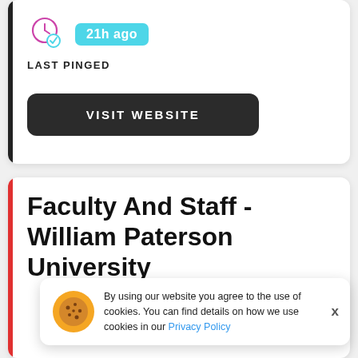[Figure (other): Clock icon with checkmark circle]
21h ago
LAST PINGED
VISIT WEBSITE
Faculty And Staff - William Paterson University
By using our website you agree to the use of cookies. You can find details on how we use cookies in our Privacy Policy
WPconnect. All services from WP Online have now moved into WPconnect, the campus web